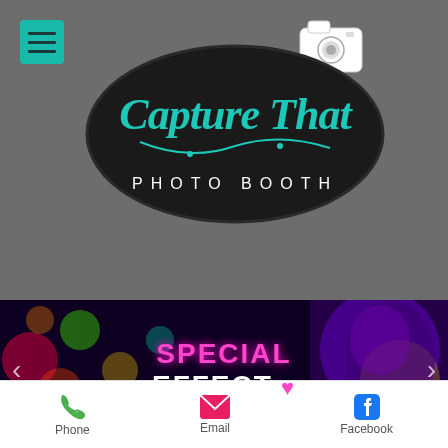[Figure (logo): Capture That Photo Booth logo — dark oval shape with teal cursive text 'Capture That' and white spaced text 'PHOTO BOOTH', with a camera icon above]
[Figure (photo): Banner image showing colorful bokeh lights and a person with neon UV face paint, with overlay text 'SPECIAL EFFECT' in magenta and white]
Phone
Email
Facebook